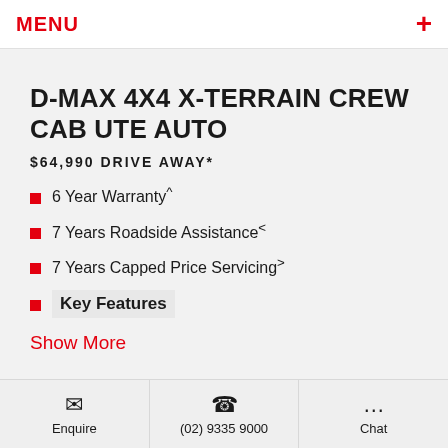MENU +
D-MAX 4X4 X-TERRAIN CREW CAB UTE AUTO
$64,990 DRIVE AWAY*
6 Year Warranty^
7 Years Roadside Assistance<
7 Years Capped Price Servicing>
Key Features
Show More
Enquire   (02) 9335 9000   Chat